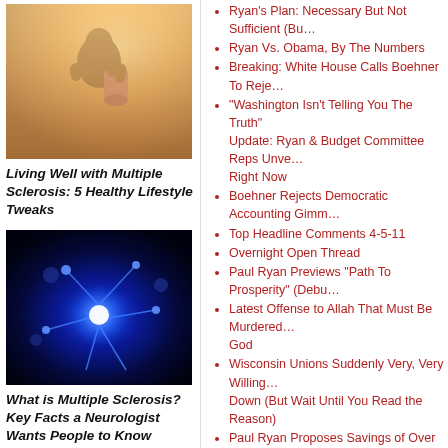[Figure (photo): Woman holding a yoga mat outdoors in sunlight, smiling]
Living Well with Multiple Sclerosis: 5 Healthy Lifestyle Tweaks
[Figure (photo): Close-up of glowing blue neuron cells on dark background]
What is Multiple Sclerosis? Key Facts a Neurologist Wants People to Know
[Figure (photo): Woman drinking from a glass]
Ryan's Plan: Necessary But Not Sufficient (Bu...
Ryan Vs. Obama, By The Numbers
Breaking: White House Calls Boehner To Reje...
"Washington Isn't Telling You The Truth" Update: Ryan & Budget Committee Reps Unve... Right Now
Boehner Rejects Democratic Accounting Gimm...
Top Headline Comments 4-5-11
Overnight Open Thread
Paul Ryan Previews "Path To Prosperity" (Debu...
Latest Offense to Allah That Must Be Murdered... God
Wisconsin Unions Suddenly Very, Very Willing... Down (But Wait Until You Read the Reason)
Paul Ryan Proposes Savings of Over $4 Trillion...
Holder: "I Know Better"
Canadian Women Protest Their Right To Wear S...
ClimateGate Critic Says Initial Re-Survey Of T... Warmists' Numbers Very Closely
Lindsey Graham: Hey, We Should Outlaw Burn... Constitution Should Be Sharia-Compliant
Holder: Gee, I Guess We Should Try KSM In A...
What's the Gaelic for 'DOOM!'?
Obama Releases First Campaign Ad
Fire From The Heartland Trailer
Top Headline Comments 4-4-11
Overnight Open Thread - Latin Edition
Senator Lindsey Graham On Free Speech
Japan: "Where are our robots designed to deal w...
Chris Matthews is Shocked, Shocked I Tell You...